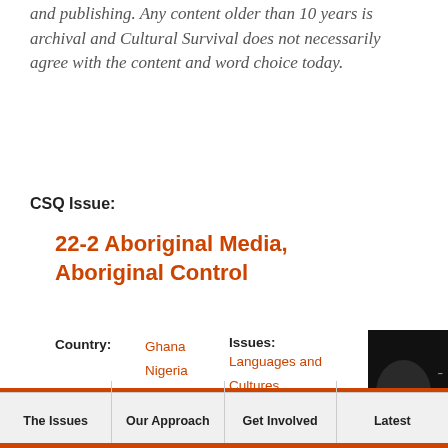and publishing. Any content older than 10 years is archival and Cultural Survival does not necessarily agree with the content and word choice today.
CSQ Issue:
22-2 Aboriginal Media, Aboriginal Control
Country: Ghana Nigeria South Africa Zambia   Issues: Languages and Cultures
The Issues  Our Approach  Get Involved  Latest